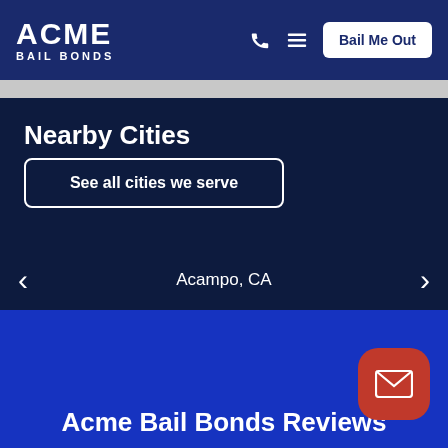ACME BAIL BONDS — Bail Me Out
Nearby Cities
See all cities we serve
Acampo, CA
Acme Bail Bonds Reviews